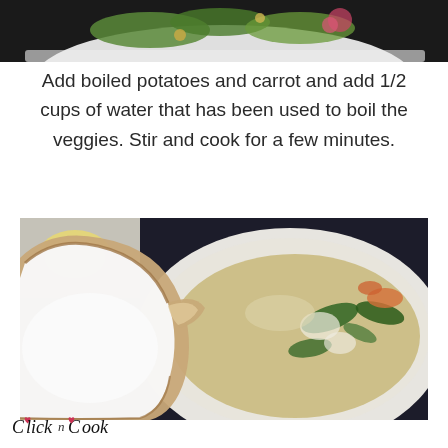[Figure (photo): Top portion of a food dish photo showing vegetables and herbs on a white plate, dark background]
Add boiled potatoes and carrot and add 1/2 cups of water that has been used to boil the veggies. Stir and cook for a few minutes.
[Figure (photo): A ceramic bowl filled with vegetable soup with greens and carrots, with a white ceramic ladle or sauce pourer in the foreground containing white liquid (coconut milk or cream)]
Click n Cook